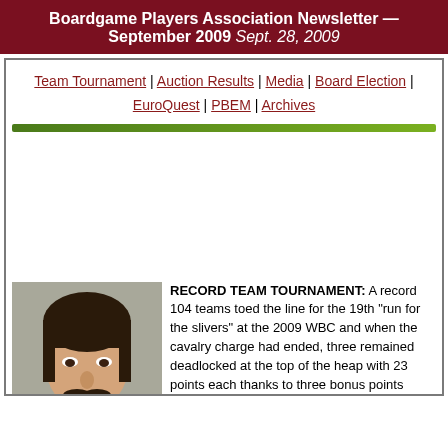Boardgame Players Association Newsletter — September 2009
Sept. 28, 2009
Team Tournament | Auction Results | Media | Board Election | EuroQuest | PBEM | Archives
RECORD TEAM TOURNAMENT: A record 104 teams toed the line for the 19th "run for the slivers" at the 2009 WBC and when the cavalry charge had ended, three remained deadlocked at the top of the heap with 23 points each thanks to three bonus points awarded to those who had not won their event previously. The 3rd-rated '99 champions Me Three Stiffs were originally alone in the lead befo